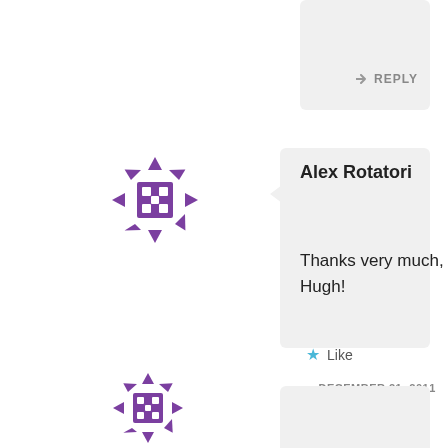[Figure (screenshot): Blog comment thread showing two comment blocks. Top comment (partial) has a REPLY button. Middle comment by Alex Rotatori with purple snowflake avatar says 'Thanks very much, Hugh!' with a Like button and timestamp DECEMBER 21, 2011 AT 9:01 AM, followed by REPLY. Bottom partial comment with similar purple snowflake avatar is visible.]
REPLY
[Figure (illustration): Purple decorative snowflake/mandala avatar icon]
Alex Rotatori
Thanks very much, Hugh!
Like
DECEMBER 21, 2011 AT 9:01 AM
REPLY